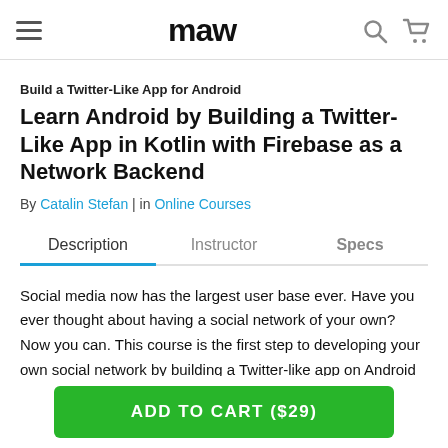maw
Build a Twitter-Like App for Android
Learn Android by Building a Twitter-Like App in Kotlin with Firebase as a Network Backend
By Catalin Stefan | in Online Courses
Description | Instructor | Specs
Social media now has the largest user base ever. Have you ever thought about having a social network of your own? Now you can. This course is the first step to developing your own social network by building a Twitter-like app on Android with Kotlin. It will implement
ADD TO CART ($29)